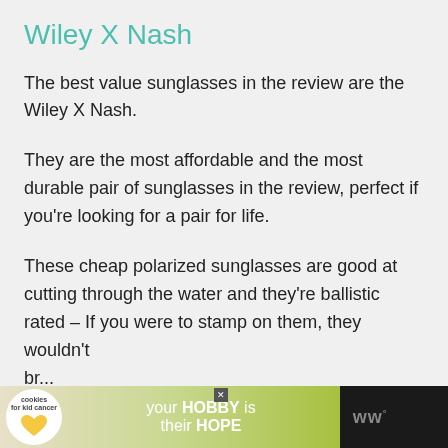Wiley X Nash
The best value sunglasses in the review are the Wiley X Nash.
They are the most affordable and the most durable pair of sunglasses in the review, perfect if you're looking for a pair for life.
These cheap polarized sunglasses are good at cutting through the water and they're ballistic rated – If you were to stamp on them, they wouldn't break
[Figure (screenshot): Advertisement banner at bottom of page: cookies for kid cancer logo with a heart-shaped cookie, text 'your HOBBY is their HOPE' on a green background, with WW logo on dark right side]